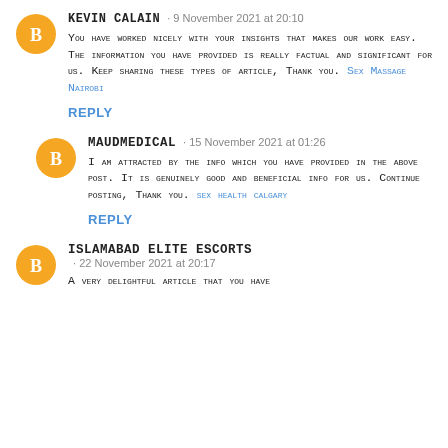KEVIN CALAIN · 9 November 2021 at 20:10
You have worked nicely with your insights that makes our work easy. The information you have provided is really factual and significant for us. Keep sharing these types of article, Thank you. Sex Massage Nairobi
REPLY
MaudMedical · 15 November 2021 at 01:26
I am attracted by the info which you have provided in the above post. It is genuinely good and beneficial info for us. Continue posting, Thank you. sex health calgary
REPLY
Islamabad Elite Escorts · 22 November 2021 at 20:17
A very delightful article that you have